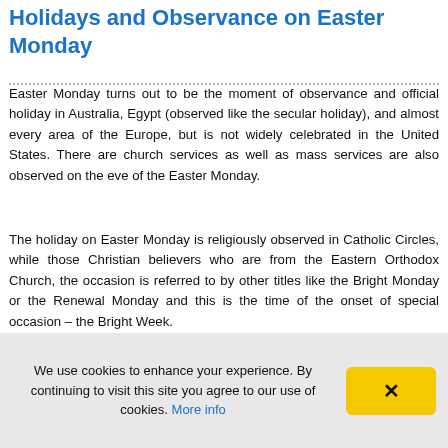Holidays and Observance on Easter Monday
Easter Monday turns out to be the moment of observance and official holiday in Australia, Egypt (observed like the secular holiday), and almost every area of the Europe, but is not widely celebrated in the United States. There are church services as well as mass services are also observed on the eve of the Easter Monday.
The holiday on Easter Monday is religiously observed in Catholic Circles, while those Christian believers who are from the Eastern Orthodox Church, the occasion is referred to by other titles like the Bright Monday or the Renewal Monday and this is the time of the onset of special occasion – the Bright Week.
The Christian Day is observed differently in the context of the Roman Catholicism, whereby it is regarded as the heyday of the
We use cookies to enhance your experience. By continuing to visit this site you agree to our use of cookies. More info